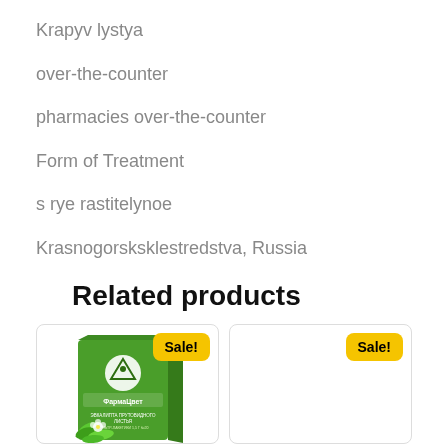Krapyv lystya
over-the-counter
pharmacies over-the-counter
Form of Treatment
s rye rastitelynoe
Krasnogorsksklestr edstva, Russia
Related products
[Figure (photo): Green herbal medicine product box labeled FarmaТsvет with plant imagery, shown in a product card with a Sale! badge]
[Figure (photo): Second product card (empty/white) with a Sale! badge]